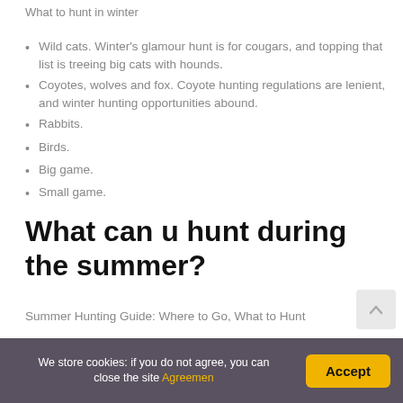What to hunt in winter
Wild cats. Winter's glamour hunt is for cougars, and topping that list is treeing big cats with hounds.
Coyotes, wolves and fox. Coyote hunting regulations are lenient, and winter hunting opportunities abound.
Rabbits.
Birds.
Big game.
Small game.
What can u hunt during the summer?
Summer Hunting Guide: Where to Go, What to Hunt
Minnesota. Summer Game: Deer, Bear and Elk.
California. Summer Game: Squirrel and Bear.
We store cookies: if you do not agree, you can close the site Agreemen